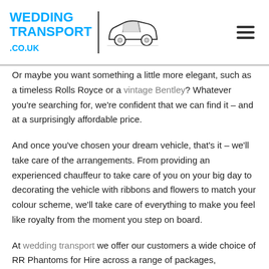WEDDING TRANSPORT .CO.UK
Or maybe you want something a little more elegant, such as a timeless Rolls Royce or a vintage Bentley? Whatever you’re searching for, we’re confident that we can find it – and at a surprisingly affordable price.
And once you’ve chosen your dream vehicle, that’s it – we’ll take care of the arrangements. From providing an experienced chauffeur to take care of you on your big day to decorating the vehicle with ribbons and flowers to match your colour scheme, we’ll take care of everything to make you feel like royalty from the moment you step on board.
At wedding transport we offer our customers a wide choice of RR Phantoms for Hire across a range of packages,